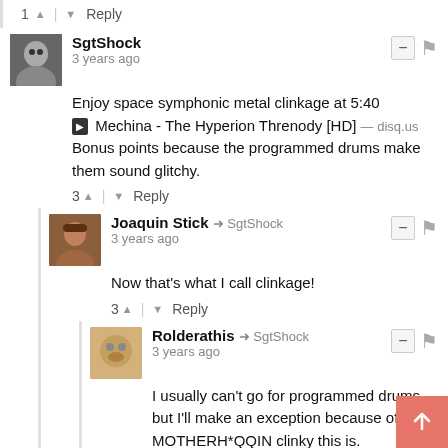1 ▲ | ▼ Reply
SgtShock
3 years ago
Enjoy space symphonic metal clinkage at 5:40
▶ Mechina - The Hyperion Threnody [HD] — disq.us
Bonus points because the programmed drums make them sound glitchy.
3 ▲ | ▼ Reply
Joaquin Stick → SgtShock
3 years ago
Now that's what I call clinkage!
3 ▲ | ▼ Reply
Rolderathis → SgtShock
3 years ago
I usually can't go for programmed drums, but I'll make an exception because of how MOTHERH*QQIN clinky this is.
1 ▲ | ▼ Reply
Joaquin Stick
3 years ago